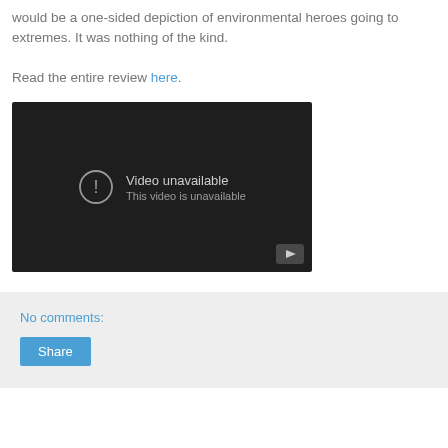would be a one-sided depiction of environmental heroes going to extremes. It was nothing of the kind.
Read the entire review here.
[Figure (screenshot): Embedded video player showing 'Video unavailable - This video is unavailable' message with a dark background and YouTube play button icon.]
No comments:
Share